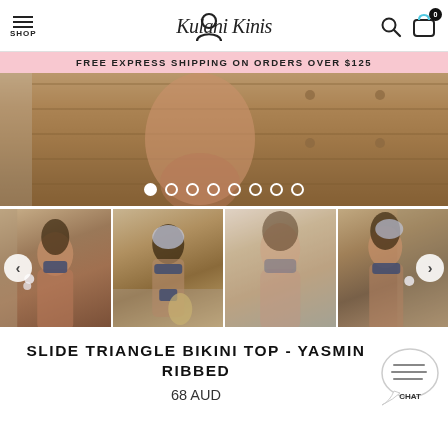SHOP | Kulani Kinis
FREE EXPRESS SHIPPING ON ORDERS OVER $125
[Figure (photo): Hero/slideshow image of a model wearing a navy bikini, close-up torso shot against a wooden door background. Navigation dots indicate 8 slides with the first selected.]
[Figure (photo): Four thumbnail images of a model wearing the Slide Triangle Bikini Top - Yasmin Ribbed in navy: front pose, back pose, blurred front full-body, and side pose. Left and right navigation arrows visible.]
SLIDE TRIANGLE BIKINI TOP - YASMIN RIBBED
68 AUD